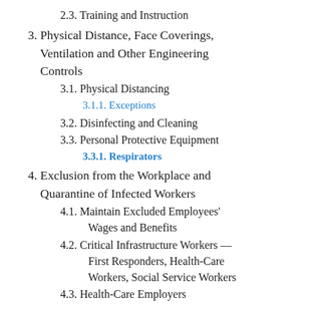2.3. Training and Instruction
3. Physical Distance, Face Coverings, Ventilation and Other Engineering Controls
3.1. Physical Distancing
3.1.1. Exceptions
3.2. Disinfecting and Cleaning
3.3. Personal Protective Equipment
3.3.1. Respirators
4. Exclusion from the Workplace and Quarantine of Infected Workers
4.1. Maintain Excluded Employees' Wages and Benefits
4.2. Critical Infrastructure Workers — First Responders, Health-Care Workers, Social Service Workers
4.3. Health-Care Employers